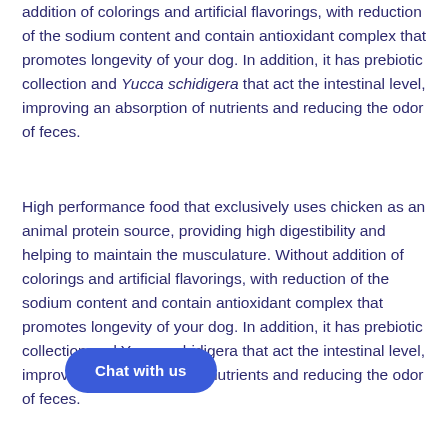addition of colorings and artificial flavorings, with reduction of the sodium content and contain antioxidant complex that promotes longevity of your dog. In addition, it has prebiotic collection and Yucca schidigera that act the intestinal level, improving an absorption of nutrients and reducing the odor of feces.
High performance food that exclusively uses chicken as an animal protein source, providing high digestibility and helping to maintain the musculature. Without addition of colorings and artificial flavorings, with reduction of the sodium content and contain antioxidant complex that promotes longevity of your dog. In addition, it has prebiotic collection and Yucca schidigera that act the intestinal level, improving an absorption of nutrients and reducing the odor of feces.